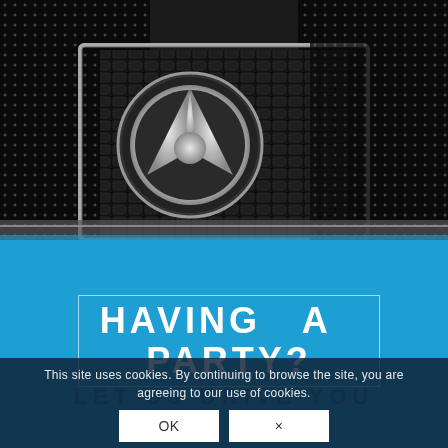[Figure (photo): Close-up photo of a Mercedes-Benz car front grille with the three-pointed star logo, chrome details and black mesh grille pattern]
HAVING A PARTY?
LET US DRIVE YOU
This site uses cookies. By continuing to browse the site, you are agreeing to our use of cookies.
OK
×